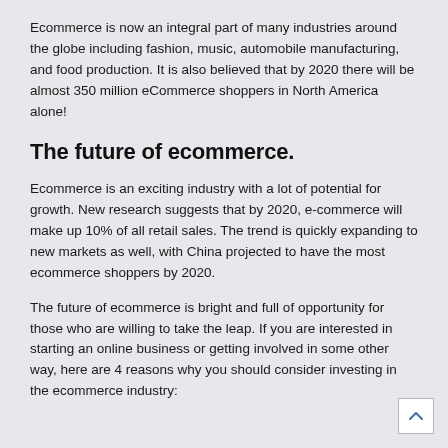Ecommerce is now an integral part of many industries around the globe including fashion, music, automobile manufacturing, and food production. It is also believed that by 2020 there will be almost 350 million eCommerce shoppers in North America alone!
The future of ecommerce.
Ecommerce is an exciting industry with a lot of potential for growth. New research suggests that by 2020, e-commerce will make up 10% of all retail sales. The trend is quickly expanding to new markets as well, with China projected to have the most ecommerce shoppers by 2020.
The future of ecommerce is bright and full of opportunity for those who are willing to take the leap. If you are interested in starting an online business or getting involved in some other way, here are 4 reasons why you should consider investing in the ecommerce industry: